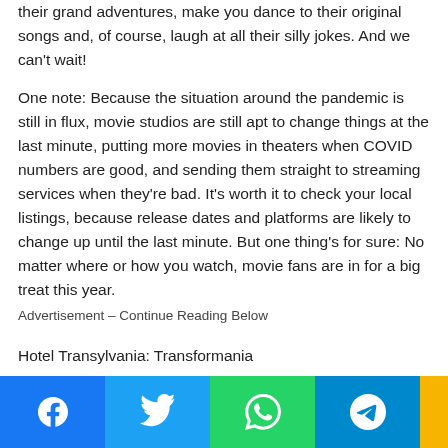their grand adventures, make you dance to their original songs and, of course, laugh at all their silly jokes. And we can't wait!
One note: Because the situation around the pandemic is still in flux, movie studios are still apt to change things at the last minute, putting more movies in theaters when COVID numbers are good, and sending them straight to streaming services when they're bad. It's worth it to check your local listings, because release dates and platforms are likely to change up until the last minute. But one thing's for sure: No matter where or how you watch, movie fans are in for a big treat this year.
Advertisement – Continue Reading Below
Hotel Transylvania: Transformania
[Figure (other): Social share bar with Facebook, Twitter, WhatsApp, and Telegram buttons]